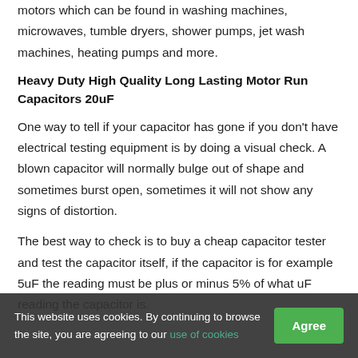motors which can be found in washing machines, microwaves, tumble dryers, shower pumps, jet wash machines, heating pumps and more.
Heavy Duty High Quality Long Lasting Motor Run Capacitors 20uF
One way to tell if your capacitor has gone if you don't have electrical testing equipment is by doing a visual check. A blown capacitor will normally bulge out of shape and sometimes burst open, sometimes it will not show any signs of distortion.
The best way to check is to buy a cheap capacitor tester and test the capacitor itself, if the capacitor is for example 5uF the reading must be plus or minus 5% of what uF reading the capacitor is.
This website uses cookies. By continuing to browse the site, you are agreeing to our use of cookies   Agree